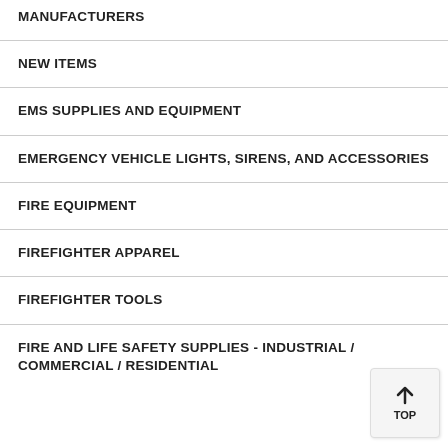MANUFACTURERS
NEW ITEMS
EMS SUPPLIES AND EQUIPMENT
EMERGENCY VEHICLE LIGHTS, SIRENS, AND ACCESSORIES
FIRE EQUIPMENT
FIREFIGHTER APPAREL
FIREFIGHTER TOOLS
FIRE AND LIFE SAFETY SUPPLIES - INDUSTRIAL / COMMERCIAL / RESIDENTIAL